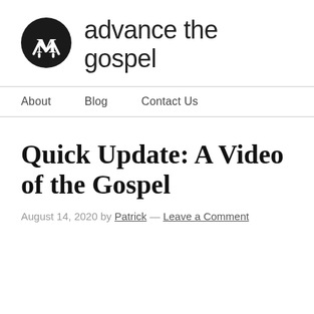[Figure (logo): Circular black logo with stylized white M character inside, representing 'advance the gospel' website]
advance the gospel
About   Blog   Contact Us
Quick Update: A Video of the Gospel
August 14, 2020 by Patrick — Leave a Comment